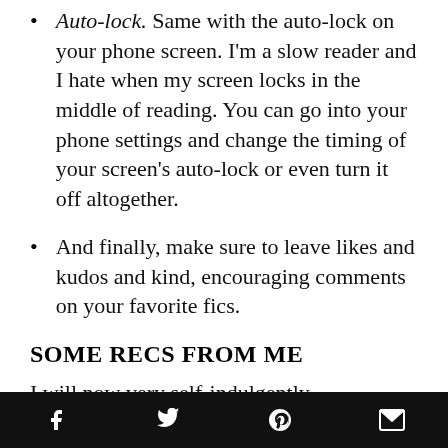Auto-lock. Same with the auto-lock on your phone screen. I'm a slow reader and I hate when my screen locks in the middle of reading. You can go into your phone settings and change the timing of your screen's auto-lock or even turn it off altogether.
And finally, make sure to leave likes and kudos and kind, encouraging comments on your favorite fics.
SOME RECS FROM ME
I will now very self-indulgently recommend some of
Social share icons: Facebook, Twitter, Pinterest, Email